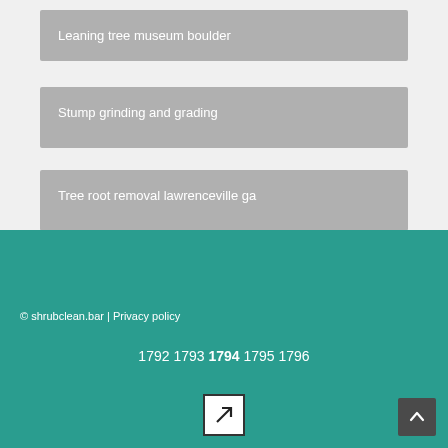Leaning tree museum boulder
Stump grinding and grading
Tree root removal lawrenceville ga
© shrubclean.bar | Privacy policy
1792 1793 1794 1795 1796